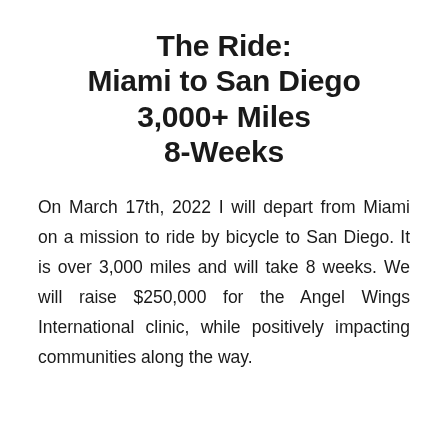The Ride: Miami to San Diego 3,000+ Miles 8-Weeks
On March 17th, 2022 I will depart from Miami on a mission to ride by bicycle to San Diego. It is over 3,000 miles and will take 8 weeks. We will raise $250,000 for the Angel Wings International clinic, while positively impacting communities along the way.